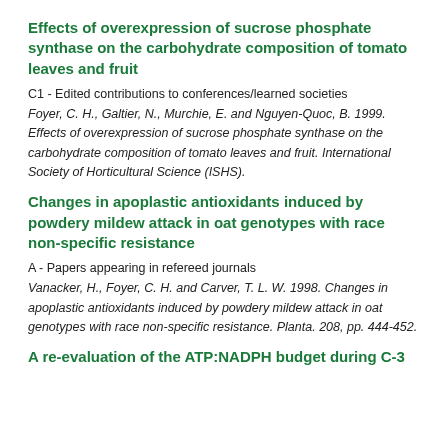Effects of overexpression of sucrose phosphate synthase on the carbohydrate composition of tomato leaves and fruit
C1 - Edited contributions to conferences/learned societies
Foyer, C. H., Galtier, N., Murchie, E. and Nguyen-Quoc, B. 1999. Effects of overexpression of sucrose phosphate synthase on the carbohydrate composition of tomato leaves and fruit. International Society of Horticultural Science (ISHS).
Changes in apoplastic antioxidants induced by powdery mildew attack in oat genotypes with race non-specific resistance
A - Papers appearing in refereed journals
Vanacker, H., Foyer, C. H. and Carver, T. L. W. 1998. Changes in apoplastic antioxidants induced by powdery mildew attack in oat genotypes with race non-specific resistance. Planta. 208, pp. 444-452.
A re-evaluation of the ATP:NADPH budget during C-3